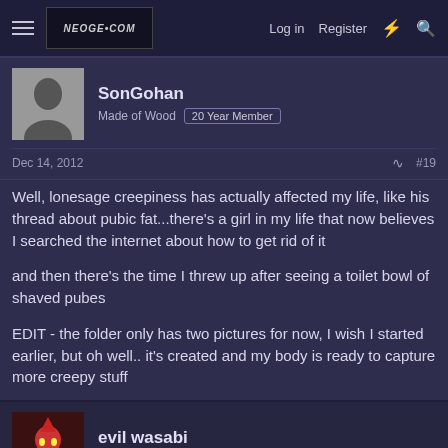Log in  Register
SonGohan
Made of Wood  20 Year Member
Dec 14, 2012  #19
Well, lonesage creepiness has actually affected my life, like his thread about pubic fat...there's a girl in my life that now believes I searched the internet about how to get rid of it

and then there's the time I threw up after seeing a toilet bowl of shaved pubes

EDIT - the folder only has two pictures for now, I wish I started earlier, but oh well.. it's created and my body is ready to capture more creepy stuff
evil wasabi
The Jongmaster  20 Year Member